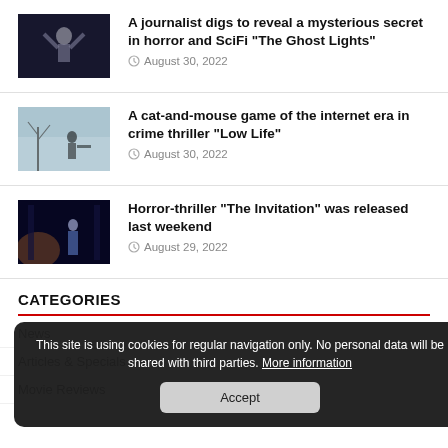[Figure (photo): Dark cinematic still from horror/SciFi film showing a figure with hands raised]
A journalist digs to reveal a mysterious secret in horror and SciFi “The Ghost Lights”
August 30, 2022
[Figure (photo): Cinematic still showing a person outdoors in wintry setting from crime thriller]
A cat-and-mouse game of the internet era in crime thriller “Low Life”
August 30, 2022
[Figure (photo): Dark atmospheric horror-thriller still showing figure in blue in ornate interior]
Horror-thriller “The Invitation” was released last weekend
August 29, 2022
CATEGORIES
News
Articles & Specials
Movie Reviews
This site is using cookies for regular navigation only. No personal data will be shared with third parties. More information
Accept